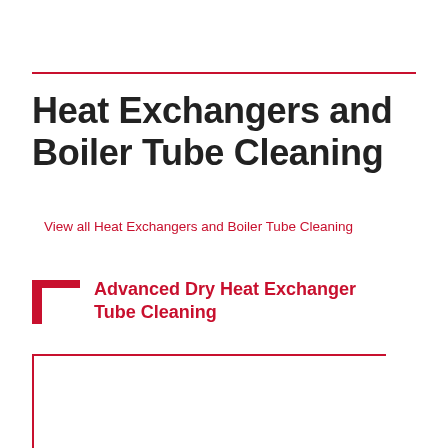Heat Exchangers and Boiler Tube Cleaning
View all Heat Exchangers and Boiler Tube Cleaning
Advanced Dry Heat Exchanger Tube Cleaning